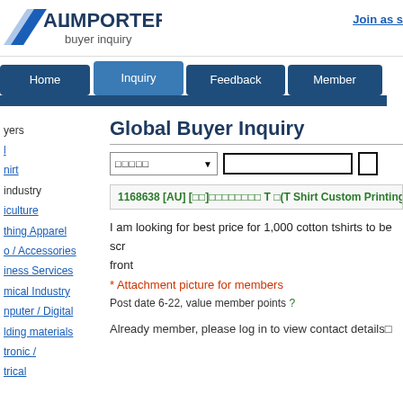AL IMPORTER buyer inquiry | Join as s
[Figure (logo): Global Importer buyer inquiry logo with diagonal slash graphic]
Join as s
[Figure (screenshot): Navigation bar with tabs: Home, Inquiry (active), Feedback, Member]
yers
Global Buyer Inquiry
1168638 [AU] [의류]주문제작인쇄 T 셔(T Shirt Custom Printing)  Ho
l
nirt
industry
iculture
thing Apparel
o / Accessories
iness Services
mical Industry
nputer / Digital
lding materials
tronic /
trical
I am looking for best price for 1,000 cotton tshirts to be scr front
* Attachment picture for members
Post date 6-22, value member points ?
Already member, please log in to view contact details